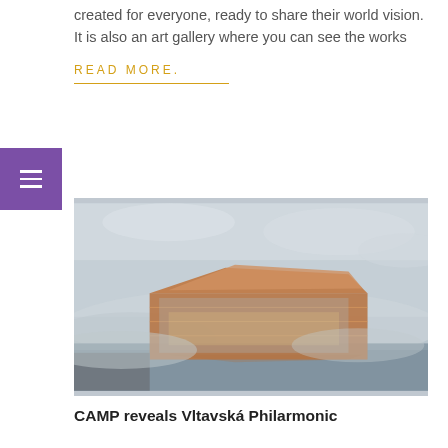created for everyone, ready to share their world vision. It is also an art gallery where you can see the works
READ MORE.
[Figure (photo): Architectural rendering of a modern concert hall building situated by a river, with mist and overcast sky. The building features angular rooflines and large glass facades, reflected in the water below.]
CAMP reveals Vltavská Philarmonic